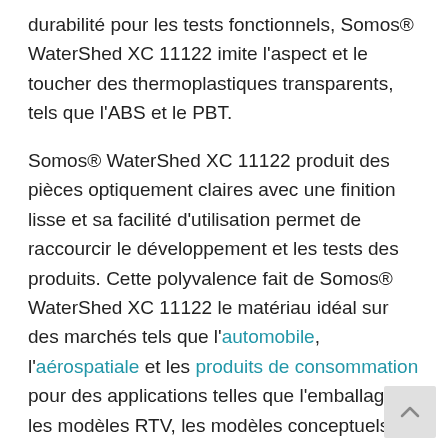durabilité pour les tests fonctionnels, Somos® WaterShed XC 11122 imite l'aspect et le toucher des thermoplastiques transparents, tels que l'ABS et le PBT.
Somos® WaterShed XC 11122 produit des pièces optiquement claires avec une finition lisse et sa facilité d'utilisation permet de raccourcir le développement et les tests des produits. Cette polyvalence fait de Somos® WaterShed XC 11122 le matériau idéal sur des marchés tels que l'automobile, l'aérospatiale et les produits de consommation pour des applications telles que l'emballage, les modèles RTV, les modèles conceptuels durables, les essais en soufflerie et les modèles de moulage à la cire perdue.